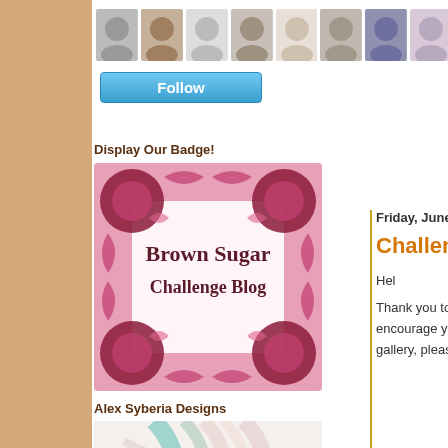[Figure (photo): Row of small circular/rectangular profile photos of blog followers at the top of the page]
[Figure (illustration): Blue 'Follow' button]
Display Our Badge!
[Figure (illustration): Brown Sugar Challenge Blog badge — pink and dark red floral decorative border with text 'Brown Sugar Challenge Blog' in brown serif font on white background]
Alex Syberia Designs
[Figure (illustration): Partial view of Alex Syberia Designs decorative image with teal, pink and white curved lines]
Friday, June 30, 2
Challenge #
Hel
Thank you to all who encourage you all to gallery, please use k